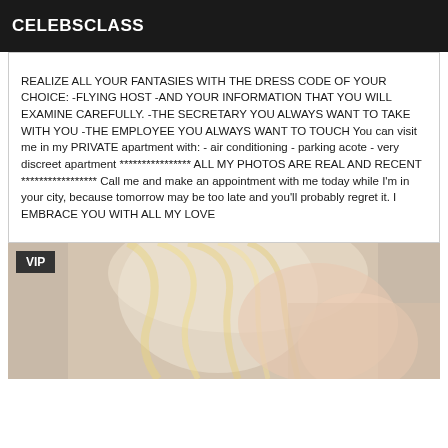CELEBSCLASS
REALIZE ALL YOUR FANTASIES WITH THE DRESS CODE OF YOUR CHOICE: -FLYING HOST -AND YOUR INFORMATION THAT YOU WILL EXAMINE CAREFULLY. -THE SECRETARY YOU ALWAYS WANT TO TAKE WITH YOU -THE EMPLOYEE YOU ALWAYS WANT TO TOUCH You can visit me in my PRIVATE apartment with: - air conditioning - parking acote - very discreet apartment **************** ALL MY PHOTOS ARE REAL AND RECENT ***************** Call me and make an appointment with me today while I'm in your city, because tomorrow may be too late and you'll probably regret it. I EMBRACE YOU WITH ALL MY LOVE
[Figure (photo): Photo of a blonde person, partially visible, with a VIP badge overlay in the top left corner]